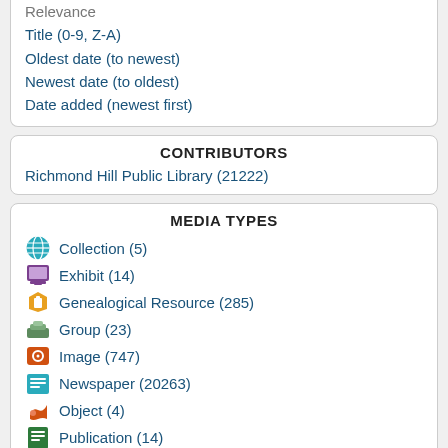Relevance
Title (0-9, Z-A)
Oldest date (to newest)
Newest date (to oldest)
Date added (newest first)
CONTRIBUTORS
Richmond Hill Public Library (21222)
MEDIA TYPES
Collection (5)
Exhibit (14)
Genealogical Resource (285)
Group (23)
Image (747)
Newspaper (20263)
Object (4)
Publication (14)
Text (458)